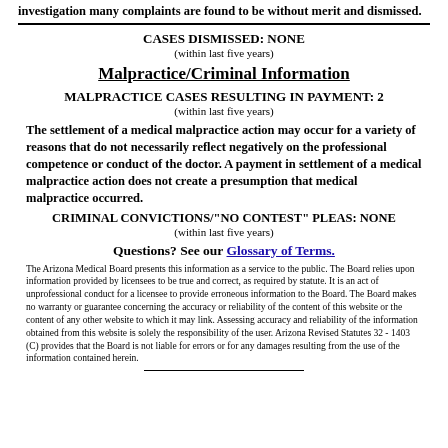investigation many complaints are found to be without merit and dismissed.
CASES DISMISSED: NONE
(within last five years)
Malpractice/Criminal Information
MALPRACTICE CASES RESULTING IN PAYMENT: 2
(within last five years)
The settlement of a medical malpractice action may occur for a variety of reasons that do not necessarily reflect negatively on the professional competence or conduct of the doctor. A payment in settlement of a medical malpractice action does not create a presumption that medical malpractice occurred.
CRIMINAL CONVICTIONS/"NO CONTEST" PLEAS: NONE
(within last five years)
Questions? See our Glossary of Terms.
The Arizona Medical Board presents this information as a service to the public. The Board relies upon information provided by licensees to be true and correct, as required by statute. It is an act of unprofessional conduct for a licensee to provide erroneous information to the Board. The Board makes no warranty or guarantee concerning the accuracy or reliability of the content of this website or the content of any other website to which it may link. Assessing accuracy and reliability of the information obtained from this website is solely the responsibility of the user. Arizona Revised Statutes 32 - 1403 (C) provides that the Board is not liable for errors or for any damages resulting from the use of the information contained herein.